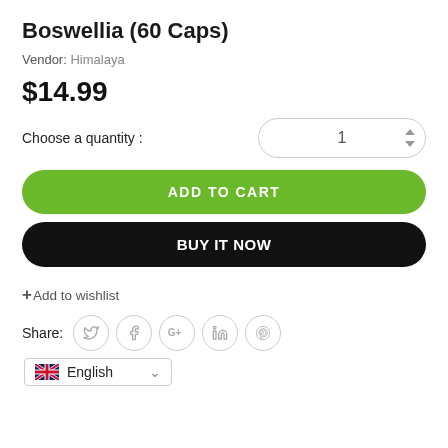Boswellia (60 Caps)
Vendor: Himalaya
$14.99
Choose a quantity :
ADD TO CART
BUY IT NOW
+Add to wishlist
Share:
English